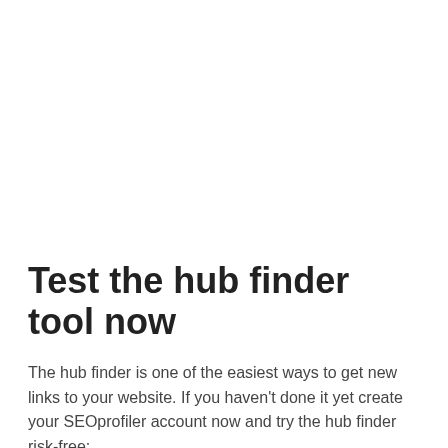Test the hub finder tool now
The hub finder is one of the easiest ways to get new links to your website. If you haven't done it yet create your SEOprofiler account now and try the hub finder risk-free:
[Figure (other): Green call-to-action button with white text reading 'Try the hub finder risk-free!']
Please tell your friends and colleagues about SEOprofiler